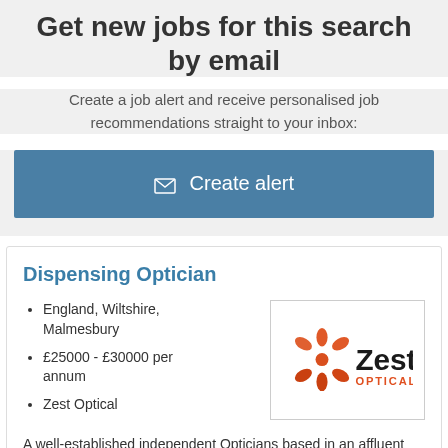Get new jobs for this search by email
Create a job alert and receive personalised job recommendations straight to your inbox:
✉ Create alert
Dispensing Optician
England, Wiltshire, Malmesbury
£25000 - £30000 per annum
Zest Optical
[Figure (logo): Zest Optical logo with orange starburst/asterisk and black bold text 'Zest' with orange text 'OPTICAL' below]
A well-established independent Opticians based in an affluent town in Malmesbury, Wiltshire are looking fo…